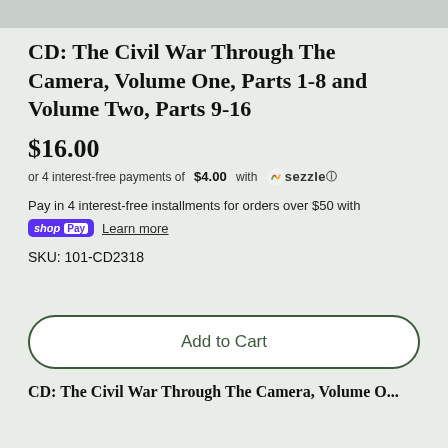CD: The Civil War Through The Camera, Volume One, Parts 1-8 and Volume Two, Parts 9-16
$16.00
or 4 interest-free payments of $4.00 with Sezzle
Pay in 4 interest-free installments for orders over $50 with shop Pay  Learn more
SKU: 101-CD2318
Add to Cart
CD: The Civil War Through The Camera, Volume O...